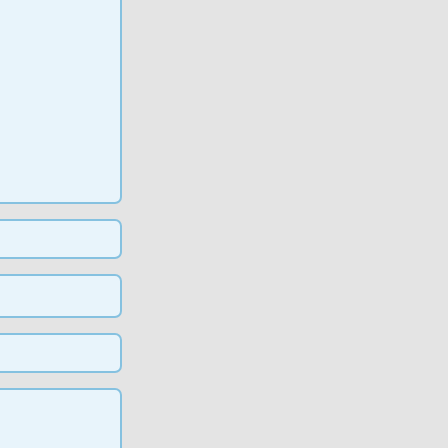if R as a 'two component task': the case of word frequency at different list lengths"
"'15:10 Break'"
"'15:30 M. Karl Healey,'" University of Pennsylvania: "A new approach to understanding age–related memory impairment"